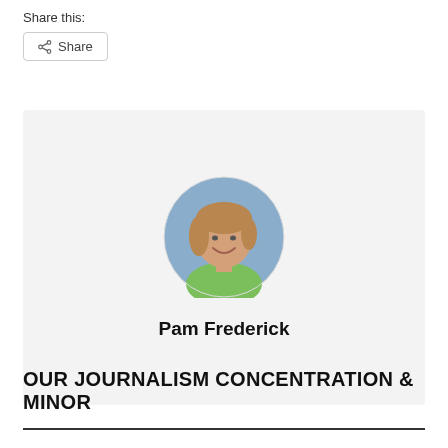Share this:
Share
[Figure (photo): Circular profile photo of a smiling woman with short blonde-brown hair, wearing a green top, with a light blue background. Name label: Pam Frederick.]
Pam Frederick
OUR JOURNALISM CONCENTRATION & MINOR